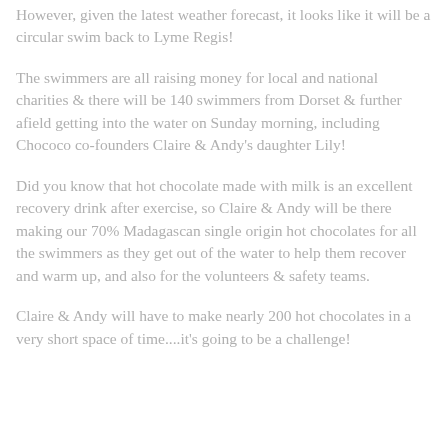However, given the latest weather forecast, it looks like it will be a circular swim back to Lyme Regis!
The swimmers are all raising money for local and national charities & there will be 140 swimmers from Dorset & further afield getting into the water on Sunday morning, including Chococo co-founders Claire & Andy's daughter Lily!
Did you know that hot chocolate made with milk is an excellent recovery drink after exercise, so Claire & Andy will be there making our 70% Madagascan single origin hot chocolates for all the swimmers as they get out of the water to help them recover and warm up, and also for the volunteers & safety teams.
Claire & Andy will have to make nearly 200 hot chocolates in a very short space of time....it's going to be a challenge!